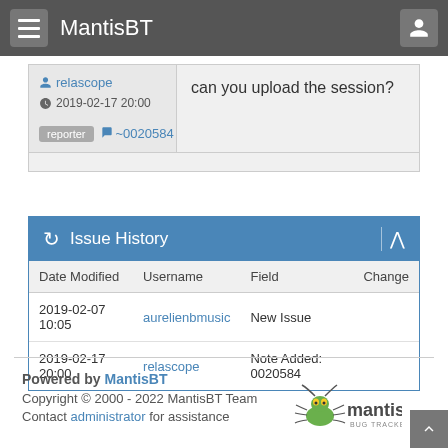MantisBT
relascope
2019-02-17 20:00
reporter
~0020584
can you upload the session?
| Date Modified | Username | Field | Change |
| --- | --- | --- | --- |
| 2019-02-07 10:05 | aurelienbmusic | New Issue |  |
| 2019-02-17 20:00 | relascope | Note Added: 0020584 |  |
Powered by MantisBT
Copyright © 2000 - 2022 MantisBT Team
Contact administrator for assistance